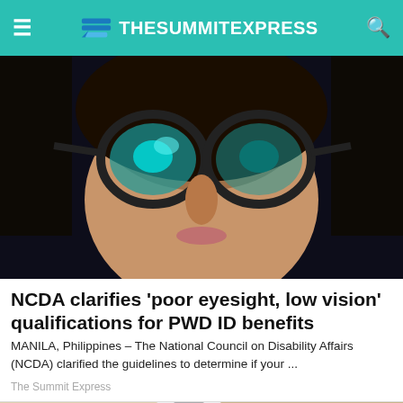The Summit Express
[Figure (photo): Close-up of a woman wearing large black-framed glasses, dark background, teal-tinted lens reflection]
NCDA clarifies 'poor eyesight, low vision' qualifications for PWD ID benefits
MANILA, Philippines – The National Council on Disability Affairs (NCDA) clarified the guidelines to determine if your ...
The Summit Express
[Figure (photo): A hand holding a white LED light bulb against a beige/cardboard background]